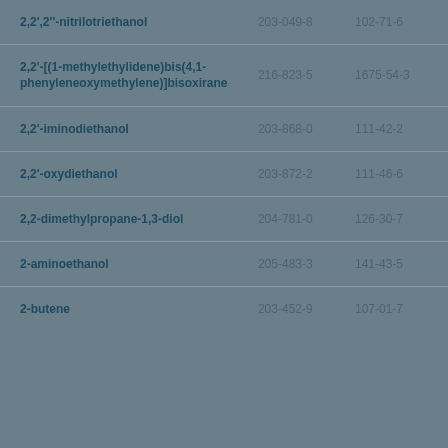| Name | EC Number | CAS Number |
| --- | --- | --- |
| 2,2',2''-nitrilotriethanol | 203-049-8 | 102-71-6 |
| 2,2'-[(1-methylethylidene)bis(4,1-phenyleneoxymethylene)]bisoxirane | 216-823-5 | 1675-54-3 |
| 2,2'-iminodiethanol | 203-868-0 | 111-42-2 |
| 2,2'-oxydiethanol | 203-872-2 | 111-46-6 |
| 2,2-dimethylpropane-1,3-diol | 204-781-0 | 126-30-7 |
| 2-aminoethanol | 205-483-3 | 141-43-5 |
| 2-butene | 203-452-9 | 107-01-7 |